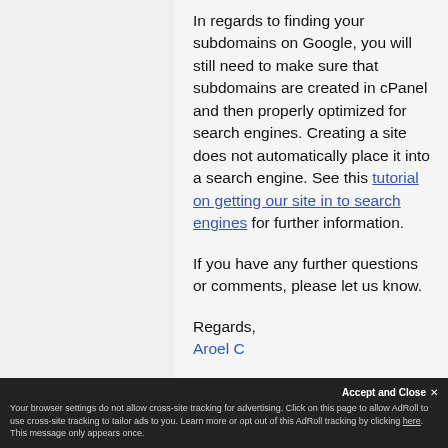In regards to finding your subdomains on Google, you will still need to make sure that subdomains are created in cPanel and then properly optimized for search engines. Creating a site does not automatically place it into a search engine. See this tutorial on getting our site in to search engines for further information.
If you have any further questions or comments, please let us know.
Regards,
Aroel C
Accept and Close
Your browser settings do not allow cross-site tracking for advertising. Click on this page to allow AdRoll to use cross-site tracking to tailor ads to you. Learn more or opt out of this AdRoll tracking by clicking here. This message only appears once.